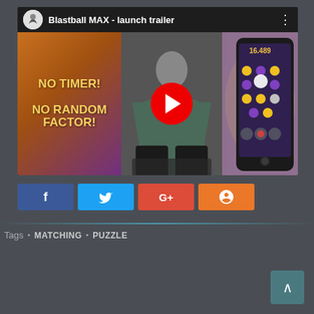[Figure (screenshot): YouTube video thumbnail for 'Blastball MAX - launch trailer'. Left panel is orange-to-purple gradient with yellow bold text 'NO TIMER!' and 'NO RANDOM FACTOR!'. Center panel shows a person on sofa with a red YouTube play button overlay. Right panel shows a smartphone with game gameplay screenshot. Top bar shows channel icon, video title 'Blastball MAX - launch trailer', and vertical dots menu.]
f
🐦
G+
StumbleUpon icon
Tags  •  MATCHING  •  PUZZLE